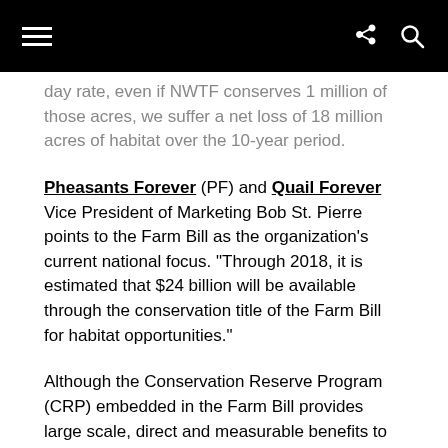[navigation bar with hamburger menu, share icon, and search icon]
day rate, even if NWTF conserves 1 million of those acres, we suffer a net loss of 18 million acres of habitat over the 10-year period.
Pheasants Forever (PF) and Quail Forever Vice President of Marketing Bob St. Pierre points to the Farm Bill as the organization’s current national focus. “Through 2018, it is estimated that $24 billion will be available through the conservation title of the Farm Bill for habitat opportunities.”
Although the Conservation Reserve Program (CRP) embedded in the Farm Bill provides large scale, direct and measurable benefits to wildlife and habitat, the Farm Bill is a politically-charged piece of legislation addressing food, farms and jobs and is tied to agricultural interests and commodity demands. Funds allocated for